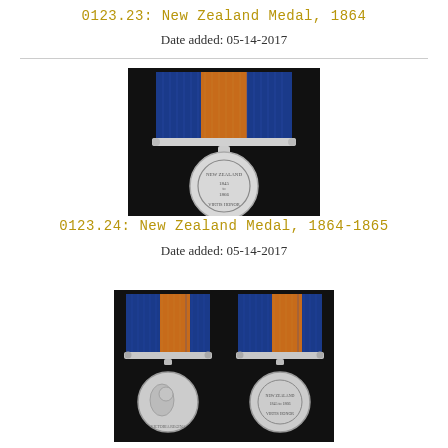0123.23: New Zealand Medal, 1864
Date added: 05-14-2017
[Figure (photo): Photograph of the New Zealand Medal 1864, showing the medal with a blue and orange ribbon with a silver clasp bar, and the silver medal face showing a wreath and text.]
0123.24: New Zealand Medal, 1864-1865
Date added: 05-14-2017
[Figure (photo): Photograph of the New Zealand Medal 1864-1865, showing two views of the medal side by side — the obverse (queen's portrait) and reverse (wreath design) — each with a blue and orange ribbon and silver clasp.]